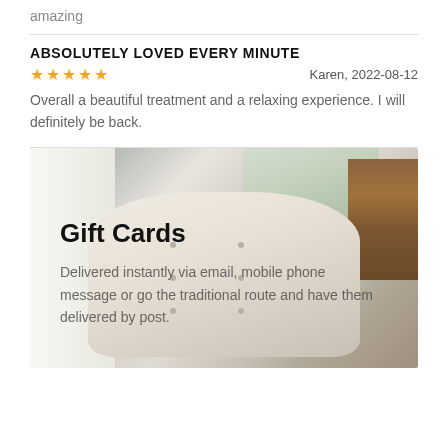amazing
ABSOLUTELY LOVED EVERY MINUTE
★★★★★   Karen, 2022-08-12
Overall a beautiful treatment and a relaxing experience. I will definitely be back.
[Figure (photo): Close-up photo of a cream tufted armchair with a window and wooden panel in the background, overlaid with Gift Cards promotional text]
Gift Cards
Delivered instantly via email, mobile phone message or go the traditional route and have them delivered by post.